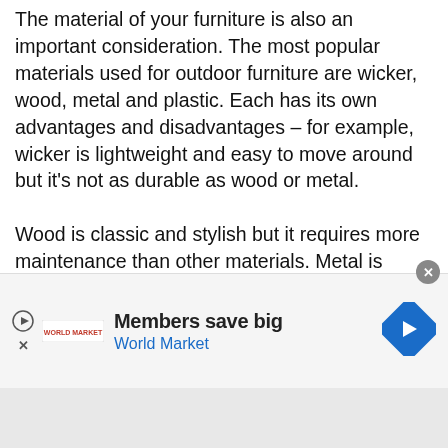The material of your furniture is also an important consideration. The most popular materials used for outdoor furniture are wicker, wood, metal and plastic. Each has its own advantages and disadvantages – for example, wicker is lightweight and easy to move around but it's not as durable as wood or metal.

Wood is classic and stylish but it requires more maintenance than other materials. Metal is strong and durable but it can get hot in direct sunlight. Plastic is the most affordable option but it's not as stylish
[Figure (other): Advertisement banner for World Market: 'Members save big / World Market' with play button, World Market logo, and a blue diamond arrow button. A close (x) button appears in the top right corner.]